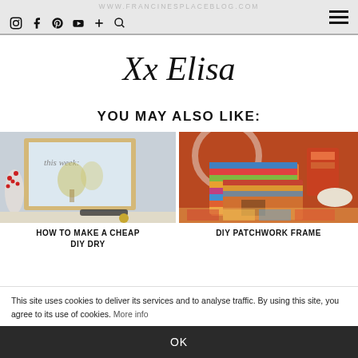WWW.FRANCINESPLACEBLOG.COM
[Figure (screenshot): Blog header with social media icons (Instagram, Facebook, Pinterest, YouTube, plus, search) and hamburger menu]
[Figure (illustration): Handwritten cursive signature reading 'Xx Elisa']
YOU MAY ALSO LIKE:
[Figure (photo): Photo of a framed DIY dry erase board with winter/berry decoration and text 'this week:']
[Figure (photo): Photo of colorful DIY patchwork frame with fabric patches in warm autumn colors]
HOW TO MAKE A CHEAP DIY DRY
DIY PATCHWORK FRAME
This site uses cookies to deliver its services and to analyse traffic. By using this site, you agree to its use of cookies. More info
OK